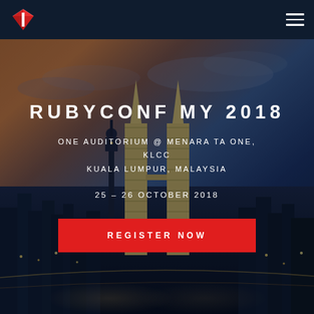[Figure (logo): Ruby gem logo — red diamond/gem shape with white vertical bar inside]
[Figure (photo): Aerial night/dusk cityscape of Kuala Lumpur featuring the Petronas Twin Towers lit up against a dramatic sunset sky with orange and blue tones]
RUBYCONF MY 2018
ONE AUDITORIUM @ MENARA TA ONE, KLCC
KUALA LUMPUR, MALAYSIA
25 – 26 OCTOBER 2018
REGISTER NOW